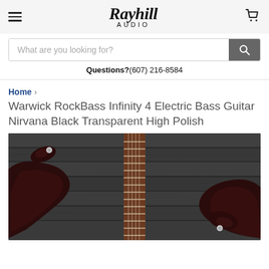Rayhill Audio
What are you looking for?
Questions?(607) 216-8584
Home > Warwick RockBass Infinity 4 Electric Bass Guitar Nirvana Black Transparent High Polish
Warwick RockBass Infinity 4 Electric Bass Guitar Nirvana Black Transparent High Polish
[Figure (photo): A Warwick RockBass Infinity 4 electric bass guitar in Nirvana Black Transparent High Polish finish, photographed against a dark gray wooden plank background. The body is dark reddish-black and the neck has a rosewood fretboard with white fret markers.]